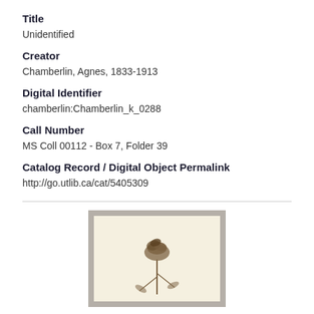Title
Unidentified
Creator
Chamberlin, Agnes, 1833-1913
Digital Identifier
chamberlin:Chamberlin_k_0288
Call Number
MS Coll 00112 - Box 7, Folder 39
Catalog Record / Digital Object Permalink
http://go.utlib.ca/cat/5405309
[Figure (illustration): Botanical illustration of an unidentified plant with a twisted seed pod or flower head on a stem, rendered in brown tones, displayed within a gray-framed mat on a cream background.]